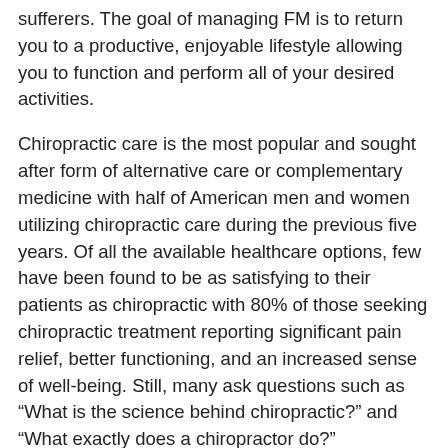sufferers. The goal of managing FM is to return you to a productive, enjoyable lifestyle allowing you to function and perform all of your desired activities.
Chiropractic care is the most popular and sought after form of alternative care or complementary medicine with half of American men and women utilizing chiropractic care during the previous five years. Of all the available healthcare options, few have been found to be as satisfying to their patients as chiropractic with 80% of those seeking chiropractic treatment reporting significant pain relief, better functioning, and an increased sense of well-being. Still, many ask questions such as “What is the science behind chiropractic?” and “What exactly does a chiropractor do?”
The original hypothesis or theory of chiropractic that led to its founding in 1895 is that skeletal or bone misalignments cause nerve interference resulting in pain, loss of function, and a host of